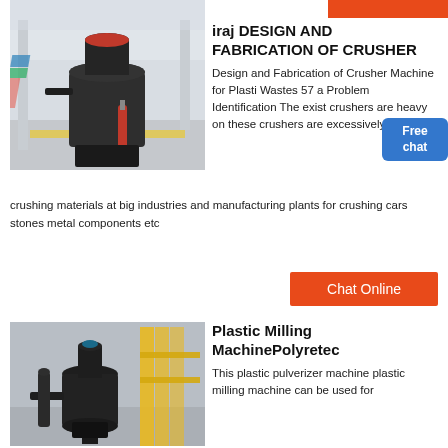[Figure (photo): Large industrial crusher machine in a factory/warehouse setting with high ceilings and concrete floor]
iraj DESIGN AND FABRICATION OF CRUSHER
Design and Fabrication of Crusher Machine for Plastic Wastes 57 a Problem Identification The existing crushers are heavy on these crushers are excessively used for crushing materials at big industries and manufacturing plants for crushing cars stones metal components etc
[Figure (photo): Industrial plastic milling machine in a factory with yellow metal structures and piping]
Plastic Milling MachinePolyretec
This plastic pulverizer machine plastic milling machine can be used for